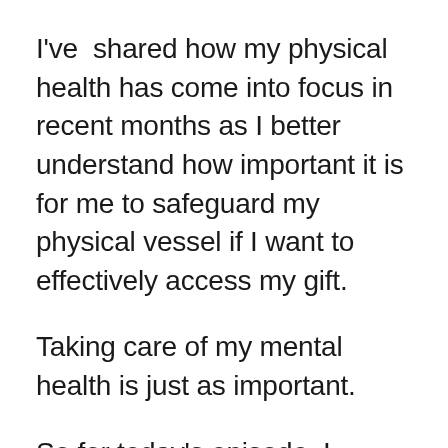I've shared how my physical health has come into focus in recent months as I better understand how important it is for me to safeguard my physical vessel if I want to effectively access my gift.
Taking care of my mental health is just as important.
So for today's episode, I wanted to have a conversation with a young woman who reminds me a lot of myself...